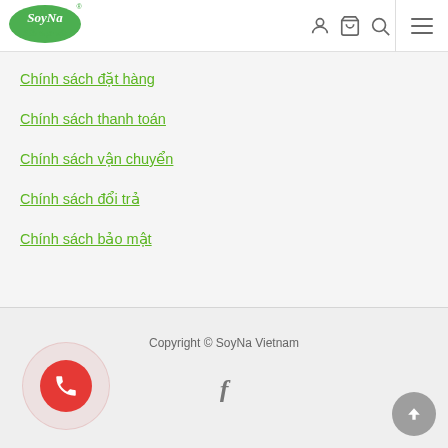[Figure (logo): SoyNa logo - green oval with white script text 'SoyNa' and 'Sữa thực vật' beneath]
Chính sách đặt hàng
Chính sách thanh toán
Chính sách vận chuyển
Chính sách đổi trả
Chính sách bảo mật
Copyright © SoyNa Vietnam